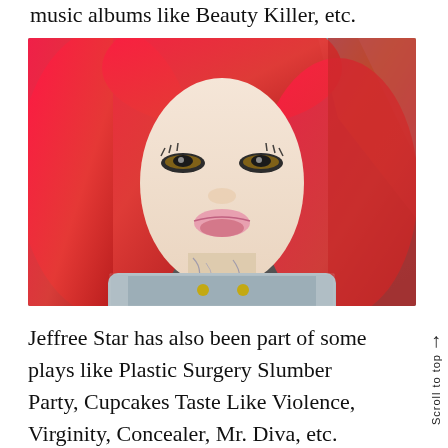music albums like Beauty Killer, etc.
[Figure (photo): Jeffree Star with long bright red hair, heavy eye makeup, pink lips, neck tattoos, wearing a light grey sparkly jacket with gold buttons, posed against a dark background with a colorful reflective element.]
Jeffree Star has also been part of some plays like Plastic Surgery Slumber Party, Cupcakes Taste Like Violence, Virginity, Concealer, Mr. Diva, etc. Some movies that featured Jeffree Stars were LA...